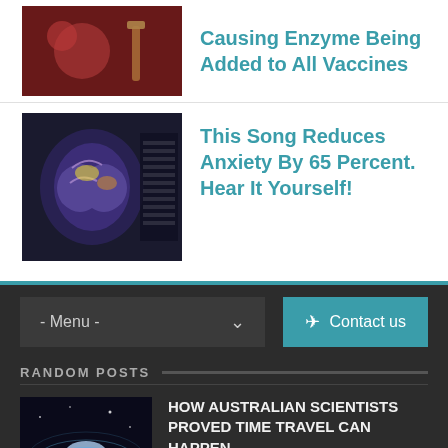[Figure (photo): Medical/surgery image thumbnail]
Causing Enzyme Being Added to All Vaccines
[Figure (photo): Brain scan MRI image thumbnail]
This Song Reduces Anxiety By 65 Percent. Hear It Yourself!
- Menu -
Contact us
RANDOM POSTS
[Figure (photo): Space/time travel concept image thumbnail]
HOW AUSTRALIAN SCIENTISTS PROVED TIME TRAVEL CAN HAPPEN
Dec 23, 2016   Rid
[Figure (photo): Dark forest/empath image thumbnail]
The Dark Side Of An Empath